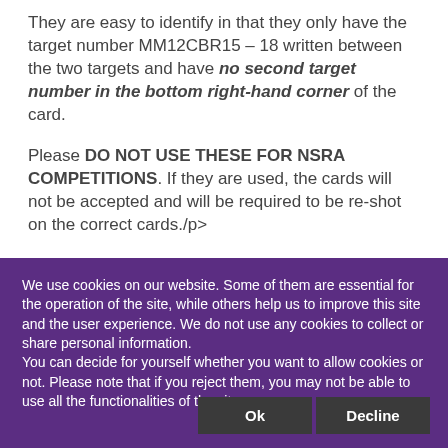They are easy to identify in that they only have the target number MM12CBR15 – 18 written between the two targets and have no second target number in the bottom right-hand corner of the card.
Please DO NOT USE THESE FOR NSRA COMPETITIONS. If they are used, the cards will not be accepted and will be required to be re-shot on the correct cards./p>
If you have stocks of these targets please return them to the NSRA Shop who will swap them for the correct
We use cookies on our website. Some of them are essential for the operation of the site, while others help us to improve this site and the user experience. We do not use any cookies to collect or share personal information.
You can decide for yourself whether you want to allow cookies or not. Please note that if you reject them, you may not be able to use all the functionalities of the site.